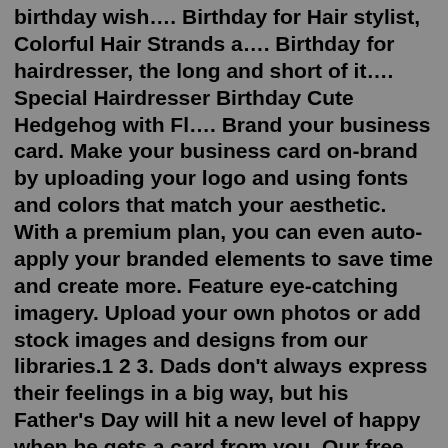birthday wish…. Birthday for Hair stylist, Colorful Hair Strands a…. Birthday for hairdresser, the long and short of it…. Special Hairdresser Birthday Cute Hedgehog with Fl…. Brand your business card. Make your business card on-brand by uploading your logo and using fonts and colors that match your aesthetic. With a premium plan, you can even auto-apply your branded elements to save time and create more. Feature eye-catching imagery. Upload your own photos or add stock images and designs from our libraries.1 2 3. Dads don't always express their feelings in a big way, but his Father's Day will hit a new level of happy when he gets a card from you. Our free Father's Day Cards honor dads with ideas & styles like traditional or funny and first Father's day. You can choose from options like photo layouts, rib ticklers, classic illustrations, and ...31+ Hair Salon Gift Voucher Templates - Free & Premium PSD Vector Downloads. Download our incredibly impressive Hair Salon Gift Voucher Templates and